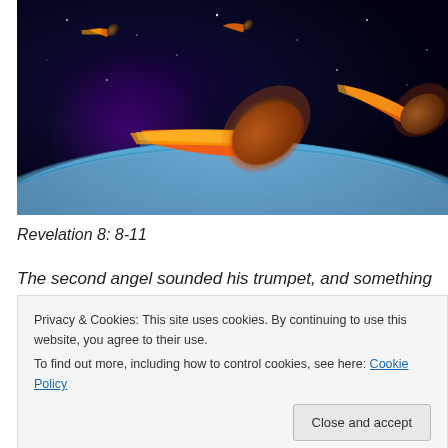[Figure (illustration): Digital illustration of multiple flaming meteors/asteroids falling toward Earth, with space background and Earth's curved surface visible at the bottom with blue atmospheric glow.]
Revelation 8: 8-11
The second angel sounded his trumpet, and something
Privacy & Cookies: This site uses cookies. By continuing to use this website, you agree to their use.
To find out more, including how to control cookies, see here: Cookie Policy
The third angel sounded his trumpet, and a great star,